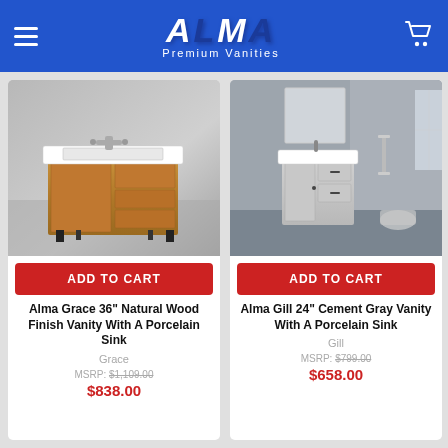ALMA Premium Vanities
[Figure (photo): Alma Grace 36 inch Natural Wood Finish Vanity with porcelain sink on gray background]
ADD TO CART
Alma Grace 36" Natural Wood Finish Vanity With A Porcelain Sink
Grace
MSRP: $1,109.00
$838.00
[Figure (photo): Alma Gill 24 inch Cement Gray Vanity with porcelain sink in modern bathroom setting]
ADD TO CART
Alma Gill 24" Cement Gray Vanity With A Porcelain Sink
Gill
MSRP: $799.00
$658.00